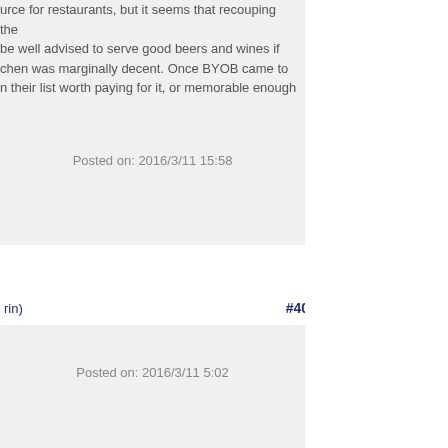urce for restaurants, but it seems that recouping the be well advised to serve good beers and wines if chen was marginally decent. Once BYOB came to n their list worth paying for it, or memorable enough
Posted on: 2016/3/11 15:58
rin)
#40
Posted on: 2016/3/11 5:02